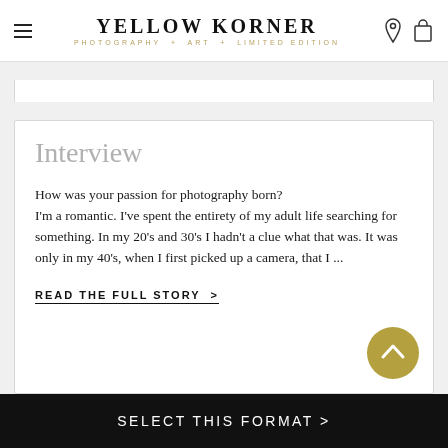YELLOW KORNER
PHOTOGRAPHY + ART + LIMITED EDITION
Interview
How was your passion for photography born?
I'm a romantic. I've spent the entirety of my adult life searching for something. In my 20's and 30's I hadn't a clue what that was. It was only in my 40's, when I first picked up a camera, that I ...
READ THE FULL STORY >
SELECT THIS FORMAT >